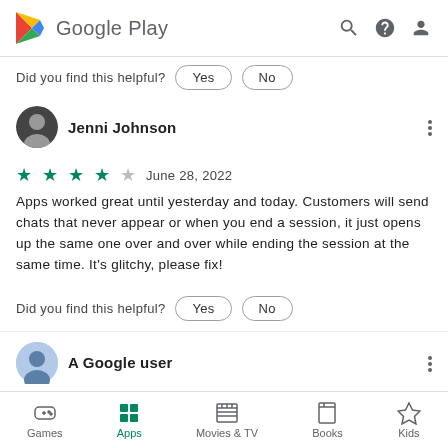Google Play
Did you find this helpful?  Yes  No
Jenni Johnson
★★★★☆  June 28, 2022
Apps worked great until yesterday and today. Customers will send chats that never appear or when you end a session, it just opens up the same one over and over while ending the session at the same time. It's glitchy, please fix!
Did you find this helpful?  Yes  No
A Google user
Games  Apps  Movies & TV  Books  Kids